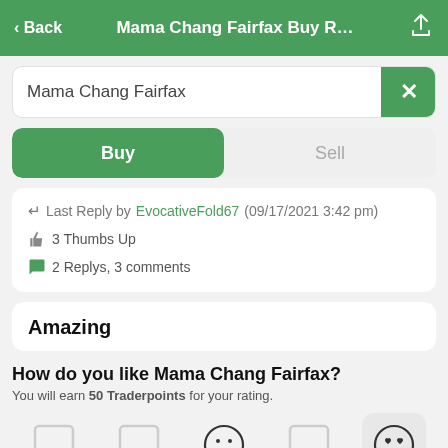< Back  Mama Chang Fairfax Buy R...
Mama Chang Fairfax
Buy  |  Sell
Last Reply by EvocativeFold67 (09/17/2021 3:42 pm)  |  3 Thumbs Up  |  2 Replys, 3 comments
Amazing
How do you like Mama Chang Fairfax?
You will earn 50 Traderpoints for your rating.
[Figure (infographic): Five emoji rating buttons in a row; the rightmost (love-eyes smiley) is highlighted with a grey background. Middle button shows a neutral face. Other buttons show empty/outline rectangles.]